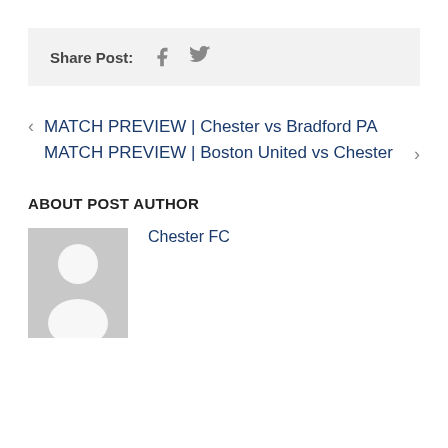Share Post:
MATCH PREVIEW | Chester vs Bradford PA
MATCH PREVIEW | Boston United vs Chester
ABOUT POST AUTHOR
Chester FC